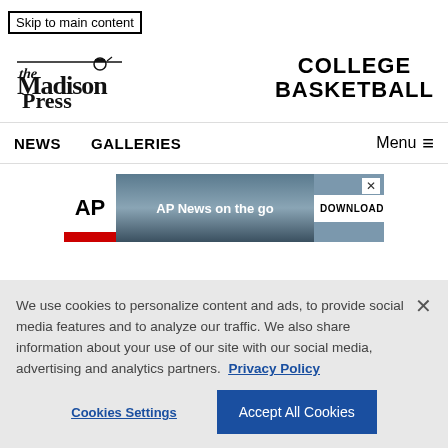Skip to main content
[Figure (logo): The Madison Press newspaper logo]
COLLEGE BASKETBALL
NEWS   GALLERIES   Menu
[Figure (screenshot): AP News on the go - Download banner ad with AP logo and silhouette background]
We use cookies to personalize content and ads, to provide social media features and to analyze our traffic. We also share information about your use of our site with our social media, advertising and analytics partners.  Privacy Policy
Cookies Settings
Accept All Cookies